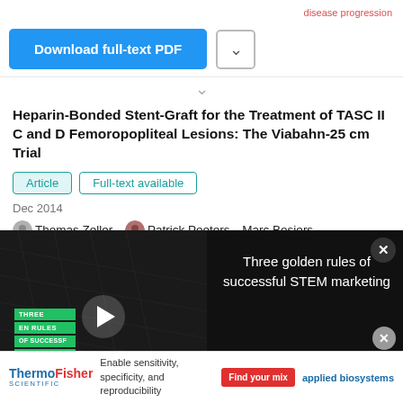disease progression
[Figure (screenshot): Download full-text PDF button and chevron dropdown button]
Heparin-Bonded Stent-Graft for the Treatment of TASC II C and D Femoropopliteal Lesions: The Viabahn-25 cm Trial
Article | Full-text available
Dec 2014
Thomas Zeller · Patrick Peeters · Marc Bosiers · Ulrich Beschorner
View   Show abstract
[Figure (screenshot): Video overlay: Three golden rules of successful STEM marketing - video player with play button and close button]
endovascular therapy is a desirable primary option [2]. Percutaneous transarterial angioplasty (PTA) for revascularization of diseased superficial femoral artery
[Figure (screenshot): ThermoFisher Scientific advertisement: Enable sensitivity, specificity, and reproducibility - Find your mix - applied biosystems]